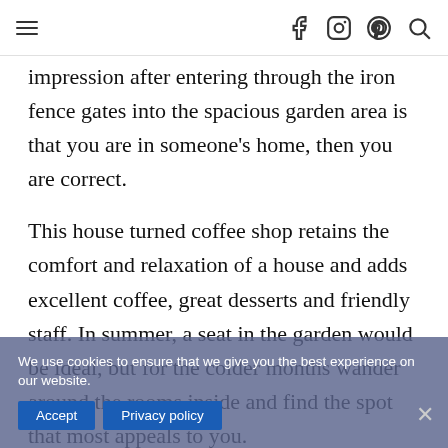≡  f  Instagram  Pinterest  Search
impression after entering through the iron fence gates into the spacious garden area is that you are in someone's home, then you are correct.
This house turned coffee shop retains the comfort and relaxation of a house and adds excellent coffee, great desserts and friendly staff. In summer, a seat in the garden would be ideal, but for the colder months wander around the rooms inside and find the spot that most appeals to you.
My dessert of choice was excellent and highly
We use cookies to ensure that we give you the best experience on our website.